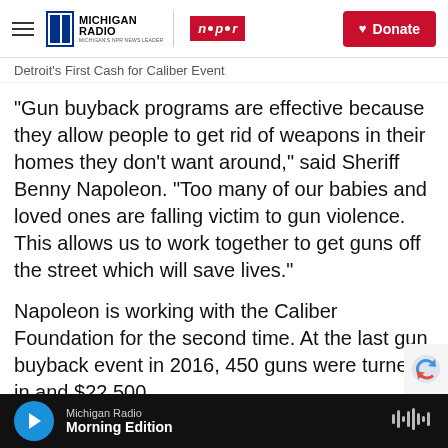Michigan Radio | NPR | Donate
Detroit's First Cash for Caliber Event
“Gun buyback programs are effective because they allow people to get rid of weapons in their homes they don’t want around,” said Sheriff Benny Napoleon. “Too many of our babies and loved ones are falling victim to gun violence. This allows us to work together to get guns off the street which will save lives.”
Napoleon is working with the Caliber Foundation for the second time. At the last gun buyback event in 2016, 450 guns were turned in and $22,500
Michigan Radio | Morning Edition